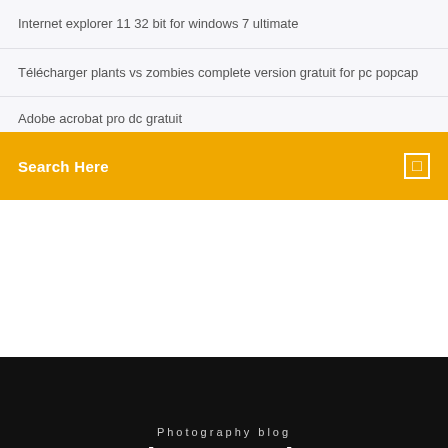Internet explorer 11 32 bit for windows 7 ultimate
Télécharger plants vs zombies complete version gratuit for pc popcap
Adobe acrobat pro dc gratuit
Search Here
Photography blog
Photography